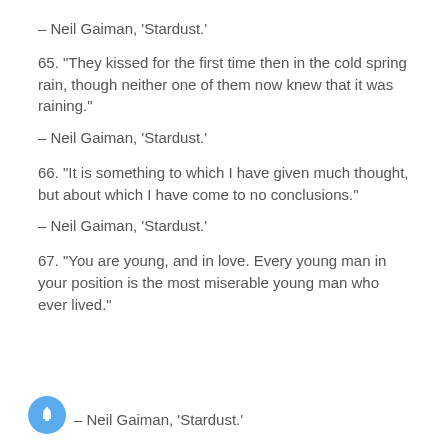– Neil Gaiman, 'Stardust.'
65. “They kissed for the first time then in the cold spring rain, though neither one of them now knew that it was raining.”
– Neil Gaiman, 'Stardust.'
66. “It is something to which I have given much thought, but about which I have come to no conclusions.”
– Neil Gaiman, 'Stardust.'
67. “You are young, and in love. Every young man in your position is the most miserable young man who ever lived.”
– Neil Gaiman, 'Stardust.'